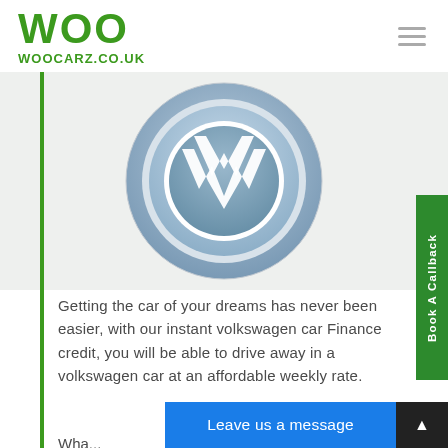[Figure (logo): WOO / WOOCARZ.CO.UK logo in green with hamburger menu icon on the right]
[Figure (illustration): Volkswagen circular logo (VW badge) in light blue and white, centered on a light grey background]
Getting the car of your dreams has never been easier, with our instant volkswagen car Finance credit, you will be able to drive away in a volkswagen car at an affordable weekly rate.
[Figure (other): Green vertical 'Book A Callback' side tab button on the right edge]
[Figure (other): Blue 'Leave us a message' button at the bottom]